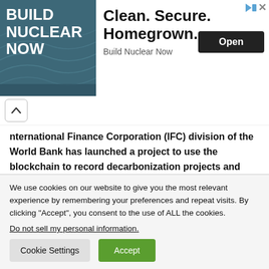[Figure (illustration): Advertisement banner for 'Build Nuclear Now' with dark teal background and white bold text on the left, and ad title 'Clean. Secure. Homegrown.' with an 'Open' button and 'Build Nuclear Now' subtitle on the right.]
International Finance Corporation (IFC) division of the World Bank has launched a project to use the blockchain to record decarbonization projects and convert carbon credits into tokens for crypto investors.
After several cases of crypto enthusiasts buying carbon credits that don't do the climate much good, supporters of this project want to
We use cookies on our website to give you the most relevant experience by remembering your preferences and repeat visits. By clicking “Accept”, you consent to the use of ALL the cookies.
Do not sell my personal information.